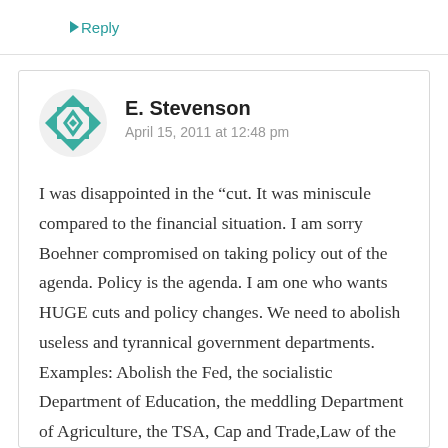Reply
[Figure (illustration): Teal/green geometric avatar icon with diamond and arrow pattern]
E. Stevenson
April 15, 2011 at 12:48 pm
I was disappointed in the “cut. It was miniscule compared to the financial situation. I am sorry Boehner compromised on taking policy out of the agenda. Policy is the agenda. I am one who wants HUGE cuts and policy changes. We need to abolish useless and tyrannical government departments. Examples: Abolish the Fed, the socialistic Department of Education, the meddling Department of Agriculture, the TSA, Cap and Trade,Law of the Sea, Czars, undeclared wars, foreign aid